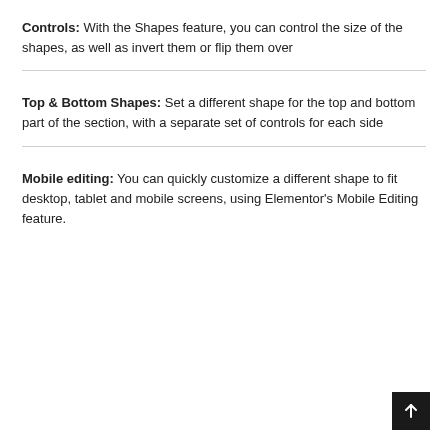Controls: With the Shapes feature, you can control the size of the shapes, as well as invert them or flip them over
Top & Bottom Shapes: Set a different shape for the top and bottom part of the section, with a separate set of controls for each side
Mobile editing: You can quickly customize a different shape to fit desktop, tablet and mobile screens, using Elementor's Mobile Editing feature.